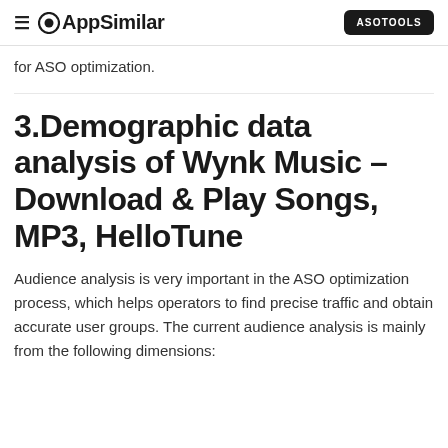AppSimilar | ASOTOOLS
for ASO optimization.
3.Demographic data analysis of Wynk Music – Download & Play Songs, MP3, HelloTune
Audience analysis is very important in the ASO optimization process, which helps operators to find precise traffic and obtain accurate user groups. The current audience analysis is mainly from the following dimensions: